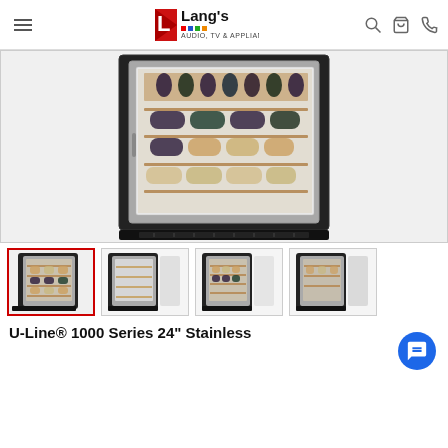Lang's Audio, TV & Appliance
[Figure (photo): Wine refrigerator with stainless steel frame and glass door open showing multiple wooden shelves with wine bottles stored horizontally]
[Figure (photo): Thumbnail 1 (active/selected): Wine cooler front view with door slightly open showing wine bottles on wooden shelves]
[Figure (photo): Thumbnail 2: Wine cooler with door open, empty wooden shelves visible]
[Figure (photo): Thumbnail 3: Wine cooler with door open showing wine bottles on shelves]
[Figure (photo): Thumbnail 4: Partial view of wine cooler with door open]
U-Line® 1000 Series 24" Stainless